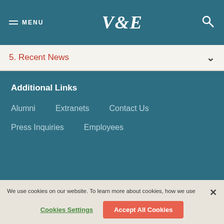MENU | V&E | [search icon]
5. Recent News
Additional Links
Alumni
Extranets
Contact Us
Press Inquiries
Employees
We use cookies on our website. To learn more about cookies, how we use them on our site and how to revise your cookie settings please view our Notice Regarding Cookies.
Cookies Settings
Accept All Cookies